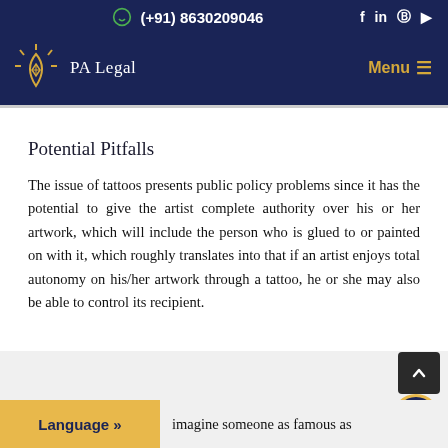(+91) 8630209046
[Figure (logo): PA Legal logo with drop/diamond shape and sun rays, golden color on dark navy background]
Potential Pitfalls
The issue of tattoos presents public policy problems since it has the potential to give the artist complete authority over his or her artwork, which will include the person who is glued to or painted on with it, which roughly translates into that if an artist enjoys total autonomy on his/her artwork through a tattoo, he or she may also be able to control its recipient.
imagine someone as famous as